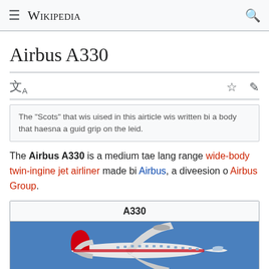Wikipedia
Airbus A330
The "Scots" that wis uised in this airticle wis written bi a body that haesna a guid grip on the leid.
The Airbus A330 is a medium tae lang range wide-body twin-ingine jet airliner made bi Airbus, a diveesion o Airbus Group.
[Figure (photo): Wikipedia infobox for A330 showing a photograph of an Airbus A330 aircraft in flight against a blue sky background, with infobox title 'A330']